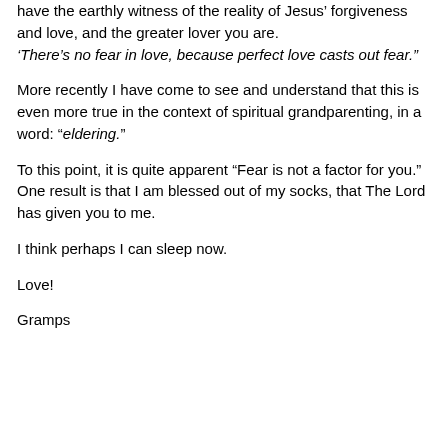have the earthly witness of the reality of Jesus' forgiveness and love, and the greater lover you are. ‘There’s no fear in love, because perfect love casts out fear.”
More recently I have come to see and understand that this is even more true in the context of spiritual grandparenting, in a word: “eldering.”
To this point, it is quite apparent “Fear is not a factor for you.” One result is that I am blessed out of my socks, that The Lord has given you to me.
I think perhaps I can sleep now.
Love!
Gramps